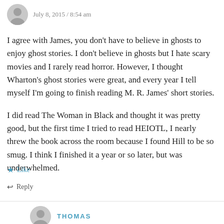July 8, 2015 / 8:54 am
I agree with James, you don't have to believe in ghosts to enjoy ghost stories. I don't believe in ghosts but I hate scary movies and I rarely read horror. However, I thought Wharton's ghost stories were great, and every year I tell myself I'm going to finish reading M. R. James' short stories.
I did read The Woman in Black and thought it was pretty good, but the first time I tried to read HEIOTL, I nearly threw the book across the room because I found Hill to be so smug. I think I finished it a year or so later, but was underwhelmed.
★ Like
↩ Reply
THOMAS